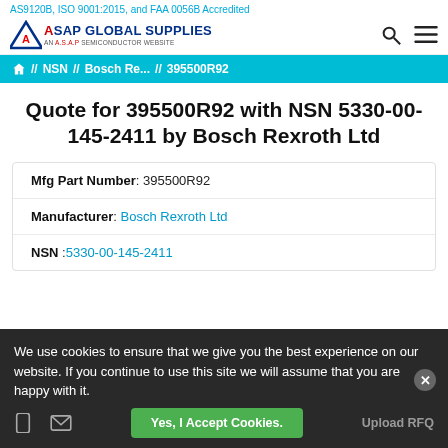AS9120B, ISO 9001:2015, and FAA 0056B Accredited
[Figure (logo): ASAP Global Supplies logo - an A.S.A.P Semiconductor website, with search and menu icons]
NSN // Bosch Re... // 395500R92
Quote for 395500R92 with NSN 5330-00-145-2411 by Bosch Rexroth Ltd
| Mfg Part Number | 395500R92 |
| Manufacturer | Bosch Rexroth Ltd |
| NSN | 5330-00-145-2411 |
We use cookies to ensure that we give you the best experience on our website. If you continue to use this site we will assume that you are happy with it.